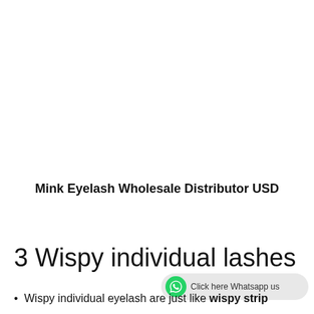Mink Eyelash Wholesale Distributor USD
3 Wispy individual lashes
[Figure (other): WhatsApp button with green icon and text 'Click here Whatsapp us']
Wispy individual eyelash are just like wispy strip